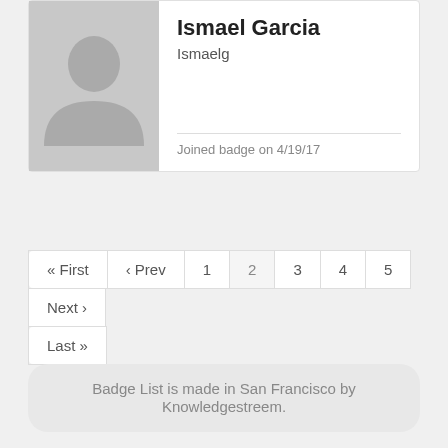[Figure (illustration): Default user avatar silhouette placeholder image in gray]
Ismael Garcia
Ismaelg
Joined badge on 4/19/17
« First ‹ Prev 1 2 3 4 5 Next › Last »
Badge List is made in San Francisco by Knowledgestreem.